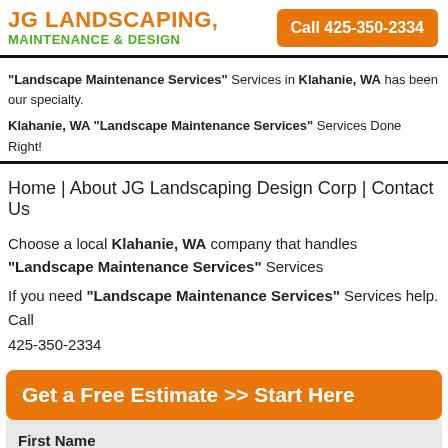JG LANDSCAPING, MAINTENANCE & DESIGN
Call 425-350-2334
"Landscape Maintenance Services" Services in Klahanie, WA has been our specialty.
Klahanie, WA "Landscape Maintenance Services" Services Done Right!
Home | About JG Landscaping Design Corp | Contact Us
Choose a local Klahanie, WA company that handles "Landscape Maintenance Services" Services
If you need "Landscape Maintenance Services" Services help. Call 425-350-2334
Get a Free Estimate >> Start Here
First Name